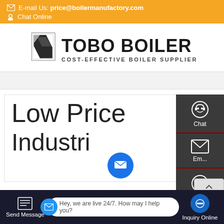E-mail Us: price@boilermanufactory.com  Chat Online
[Figure (logo): TOBO BOILER logo with geometric icon - COST-EFFECTIVE BOILER SUPPLIER]
[Figure (screenshot): Website screenshot showing side panel with Chat, Email, Contact buttons and a TOP scroll-to-top button]
Low Price Industrial...
[Figure (screenshot): Bottom chat bar with Send Message, live chat text 'Hey, we are live 24/7. How may I help you?', and Inquiry Online buttons]